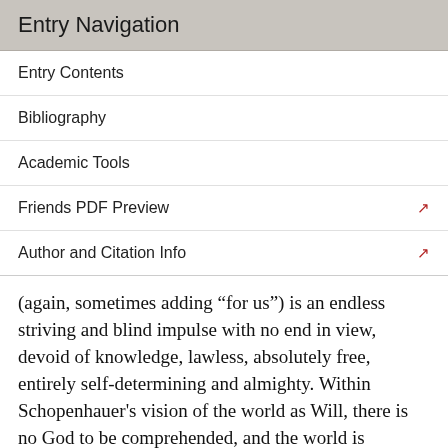Entry Navigation
Entry Contents
Bibliography
Academic Tools
Friends PDF Preview
Author and Citation Info
(again, sometimes adding “for us”) is an endless striving and blind impulse with no end in view, devoid of knowledge, lawless, absolutely free, entirely self-determining and almighty. Within Schopenhauer's vision of the world as Will, there is no God to be comprehended, and the world is conceived of as being meaningless. When anthropomorphically considered, the world is represented as being in a condition of eternal frustration, as it endlessly strives for nothing in particular, and as it goes essentially nowhere. It is a world beyond any ascriptions of good and evil.